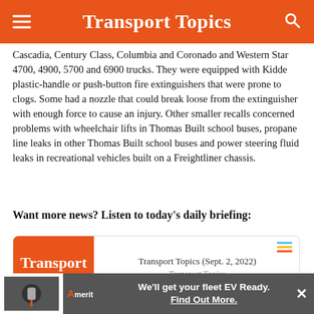Transport Topics
Cascadia, Century Class, Columbia and Coronado and Western Star 4700, 4900, 5700 and 6900 trucks. They were equipped with Kidde plastic-handle or push-button fire extinguishers that were prone to clogs. Some had a nozzle that could break loose from the extinguisher with enough force to cause an injury. Other smaller recalls concerned problems with wheelchair lifts in Thomas Built school buses, propane line leaks in other Thomas Built school buses and power steering fluid leaks in recreational vehicles built on a Freightliner chassis.
Want more news? Listen to today's daily briefing:
[Figure (other): Transport Topics podcast player card showing logo on orange background and episode title Transport Topics (Sept. 2, 2022)]
[Figure (other): Advertisement banner: Amerit - We'll get your fleet EV Ready. Find Out More.]